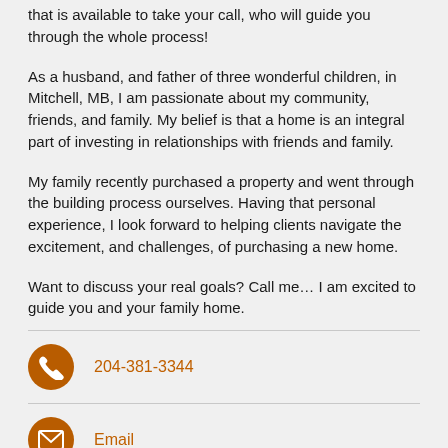that is available to take your call, who will guide you through the whole process!
As a husband, and father of three wonderful children, in Mitchell, MB, I am passionate about my community, friends, and family. My belief is that a home is an integral part of investing in relationships with friends and family.
My family recently purchased a property and went through the building process ourselves. Having that personal experience, I look forward to helping clients navigate the excitement, and challenges, of purchasing a new home.
Want to discuss your real goals? Call me… I am excited to guide you and your family home.
204-381-3344
Email